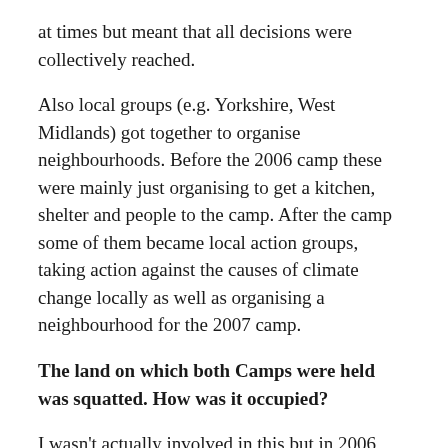at times but meant that all decisions were collectively reached.
Also local groups (e.g. Yorkshire, West Midlands) got together to organise neighbourhoods. Before the 2006 camp these were mainly just organising to get a kitchen, shelter and people to the camp. After the camp some of them became local action groups, taking action against the causes of climate change locally as well as organising a neighbourhood for the 2007 camp.
The land on which both Camps were held was squatted. How was it occupied?
I wasn't actually involved in this but in 2006 small groups of people (about 80 people in total) were transported to near the site and dropped off at different places. This was in the middle of the night.